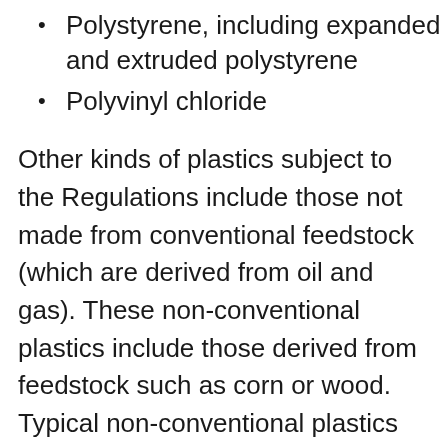Polystyrene, including expanded and extruded polystyrene
Polyvinyl chloride
Other kinds of plastics subject to the Regulations include those not made from conventional feedstock (which are derived from oil and gas). These non-conventional plastics include those derived from feedstock such as corn or wood. Typical non-conventional plastics that are used in SUP items include:
Polylactic acid
Polyhydroxyalkanoates